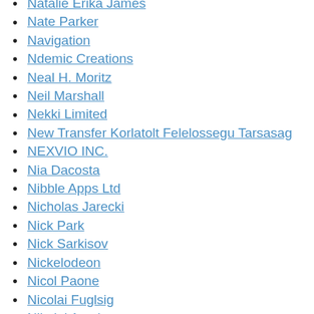Natalie Erika James
Nate Parker
Navigation
Ndemic Creations
Neal H. Moritz
Neil Marshall
Nekki Limited
New Transfer Korlatolt Felelossegu Tarsasag
NEXVIO INC.
Nia Dacosta
Nibble Apps Ltd
Nicholas Jarecki
Nick Park
Nick Sarkisov
Nickelodeon
Nicol Paone
Nicolai Fuglsig
Nikolaj Arcel
NINETAIL Co., Ltd